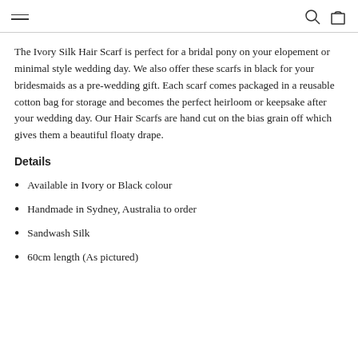navigation header with hamburger menu, search, and cart icons
The Ivory Silk Hair Scarf is perfect for a bridal pony on your elopement or minimal style wedding day. We also offer these scarfs in black for your bridesmaids as a pre-wedding gift. Each scarf comes packaged in a reusable cotton bag for storage and becomes the perfect heirloom or keepsake after your wedding day. Our Hair Scarfs are hand cut on the bias grain off which gives them a beautiful floaty drape.
Details
Available in Ivory or Black colour
Handmade in Sydney, Australia to order
Sandwash Silk
60cm length (As pictured)